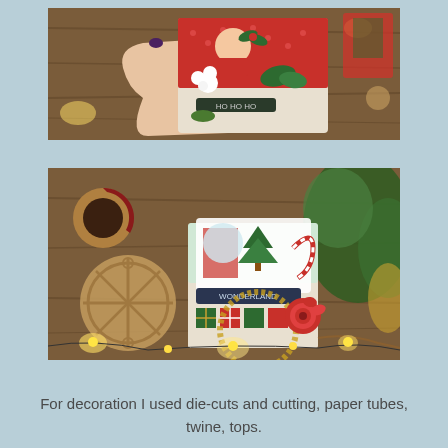[Figure (photo): A hand holding a decorated Christmas craft box/card with Santa and holiday embellishments including flowers and red poinsettia, on a wooden table background with fairy lights and other decorated items.]
[Figure (photo): A decorated Christmas craft box labeled 'Wonderland' with holiday embellishments including a red rose, gift boxes, greenery, candy cane, and fairy lights. Wooden decorative elements and greenery visible in the background.]
For decoration I used die-cuts and cutting, paper tubes, twine, tops.